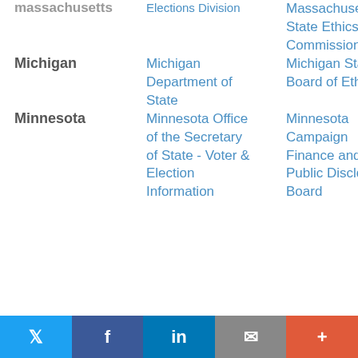| State | Election Authority | Ethics/Disclosure Authority |
| --- | --- | --- |
| Massachusetts (partial) | Elections Division (partial) | Massachusetts State Ethics Commission |
| Michigan | Michigan Department of State | Michigan State Board of Ethics |
| Minnesota | Minnesota Office of the Secretary of State - Voter & Election Information | Minnesota Campaign Finance and Public Disclosure Board |
Twitter | Facebook | LinkedIn | Email | More